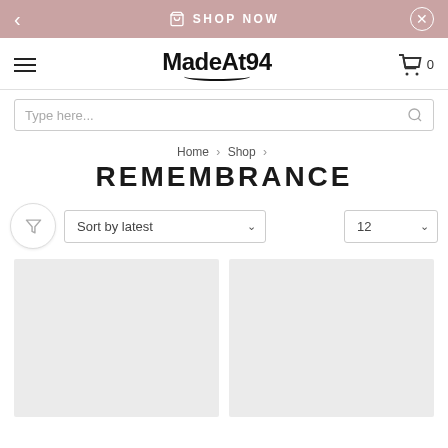SHOP NOW
[Figure (screenshot): MadeAt94 e-commerce website navigation with logo, hamburger menu, cart icon, search bar, breadcrumb navigation showing Home > Shop > REMEMBRANCE, sort/filter controls, and product grid placeholders]
Home > Shop >
REMEMBRANCE
Sort by latest
12